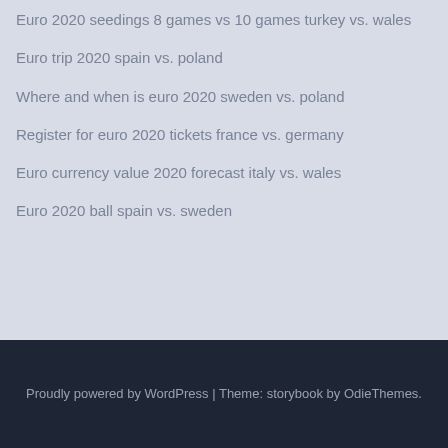Euro 2020 seedings 8 games vs 10 games turkey vs. wales
Euro trip 2020 spain vs. poland
Where and when is euro 2020 sweden vs. poland
Register for euro 2020 tickets france vs. germany
Euro currency value 2020 forecast italy vs. wales
Euro 2020 ball spain vs. sweden
Proudly powered by WordPress | Theme: storybook by OdieThemes.